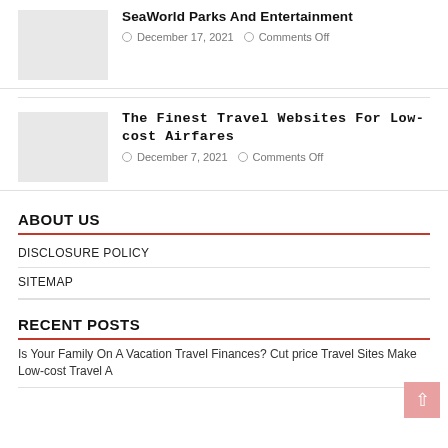SeaWorld Parks And Entertainment
December 17, 2021   Comments Off
The Finest Travel Websites For Low-cost Airfares
December 7, 2021   Comments Off
ABOUT US
DISCLOSURE POLICY
SITEMAP
RECENT POSTS
Is Your Family On A Vacation Travel Finances? Cut price Travel Sites Make Low-cost Travel A